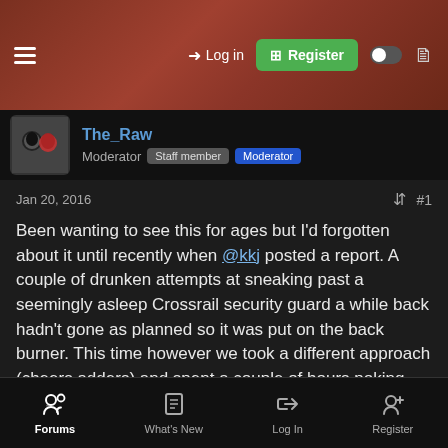The_Raw Moderator Staff member Moderator
Jan 20, 2016 #1
Been wanting to see this for ages but I'd forgotten about it until recently when @kkj posted a report. A couple of drunken attempts at sneaking past a seemingly asleep Crossrail security guard a while back hadn't gone as planned so it was put on the back burner. This time however we took a different approach (cheers adders) and spent a couple of hours poking around inside without any hassle. Such a cool bit of London history it's a must see if you get the chance to pop in. Visited with @Adders, @extreme_ironing, an extremely drunken @Monkey and a friend of ours from Germany.
Forums | What's New | Log In | Register